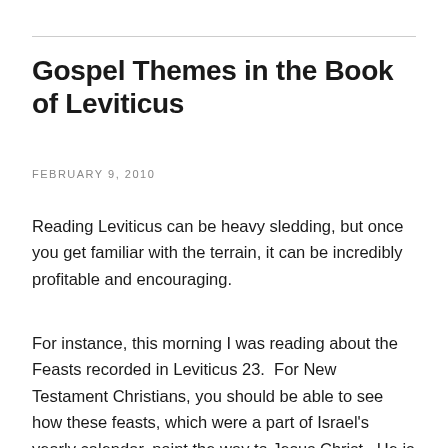Gospel Themes in the Book of Leviticus
FEBRUARY 9, 2010
Reading Leviticus can be heavy sledding, but once you get familiar with the terrain, it can be incredibly profitable and encouraging.
For instance, this morning I was reading about the Feasts recorded in Leviticus 23.  For New Testament Christians, you should be able to see how these feasts, which were a part of Israel's yearly calendar, point the way to Jesus Christ.  He is the Passover Lamb and his death corresponds to the Passover and Resurrection